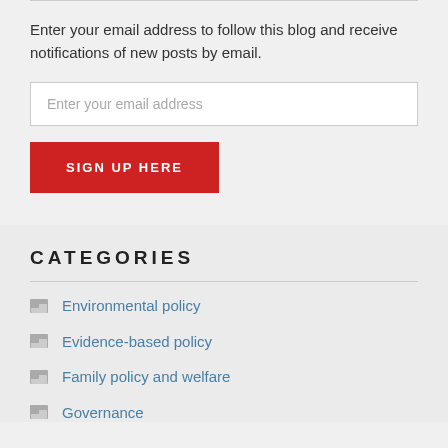Enter your email address to follow this blog and receive notifications of new posts by email.
Enter your email address
SIGN UP HERE
CATEGORIES
Environmental policy
Evidence-based policy
Family policy and welfare
Governance